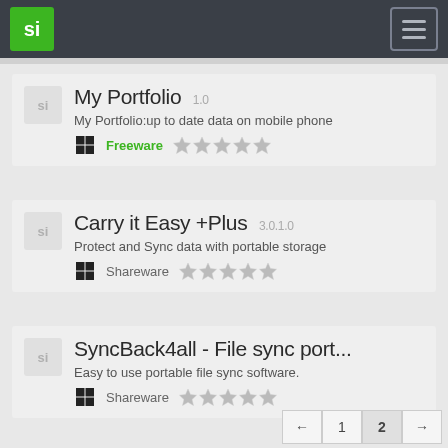si [logo] | hamburger menu
My Portfolio 1.0 — My Portfolio:up to date data on mobile phone — Freeware — 2 stars
Carry it Easy +Plus 3.0.1.0 — Protect and Sync data with portable storage — Shareware — 2 stars
SyncBack4all - File sync port... — Easy to use portable file sync software. — Shareware — 1 star
← 1 2 →